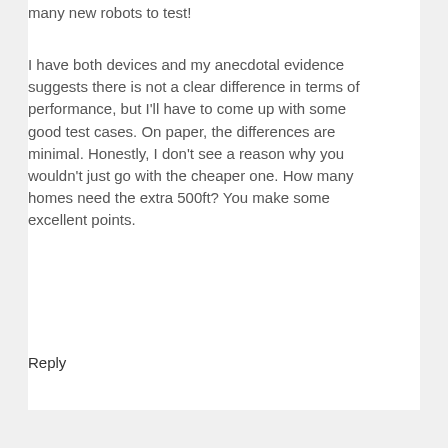many new robots to test!
I have both devices and my anecdotal evidence suggests there is not a clear difference in terms of performance, but I'll have to come up with some good test cases. On paper, the differences are minimal. Honestly, I don't see a reason why you wouldn't just go with the cheaper one. How many homes need the extra 500ft? You make some excellent points.
Reply